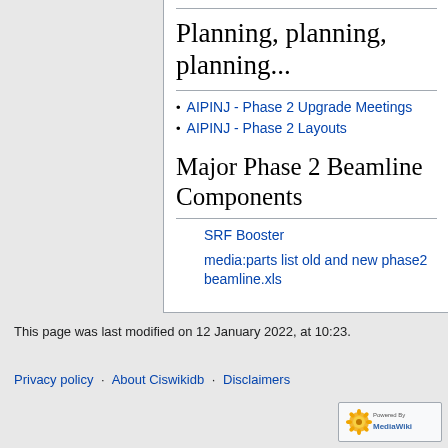Planning, planning, planning...
AIPINJ - Phase 2 Upgrade Meetings
AIPINJ - Phase 2 Layouts
Major Phase 2 Beamline Components
SRF Booster
media:parts list old and new phase2 beamline.xls
This page was last modified on 12 January 2022, at 10:23.
Privacy policy · About Ciswikidb · Disclaimers